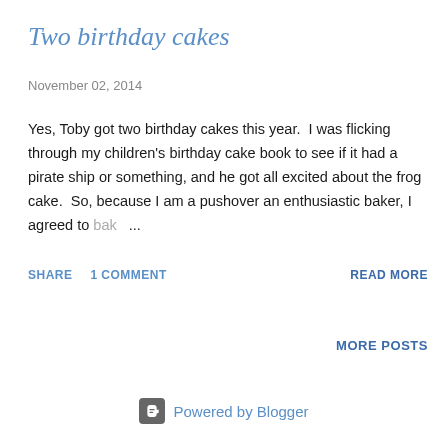Two birthday cakes
November 02, 2014
Yes, Toby got two birthday cakes this year.  I was flicking through my children's birthday cake book to see if it had a pirate ship or something, and he got all excited about the frog cake.  So, because I am a pushover an enthusiastic baker, I agreed to bak ...
SHARE   1 COMMENT   READ MORE
MORE POSTS
Powered by Blogger